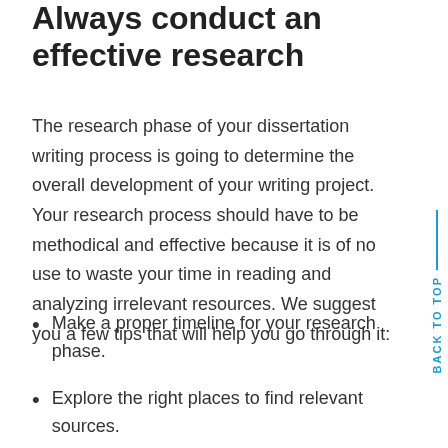Always conduct an effective research
The research phase of your dissertation writing process is going to determine the overall development of your writing project. Your research process should have to be methodical and effective because it is of no use to waste your time in reading and analyzing irrelevant resources. We suggest you a few tips that will help you go through it:
Make a proper timeline for your research phase.
Explore the right places to find relevant sources.